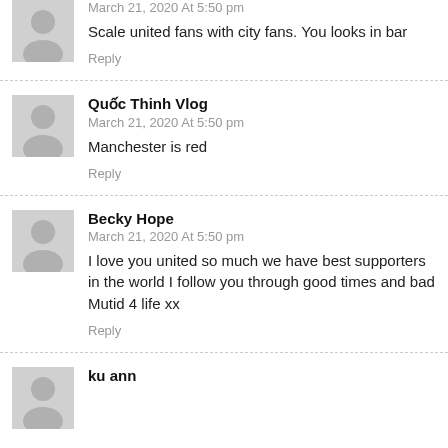March 21, 2020 At 5:50 pm
Scale united fans with city fans. You looks in bar
Reply
Quốc Thinh Vlog
March 21, 2020 At 5:50 pm
Manchester is red
Reply
Becky Hope
March 21, 2020 At 5:50 pm
I love you united so much we have best supporters in the world I follow you through good times and bad Mutid 4 life xx
Reply
ku ann